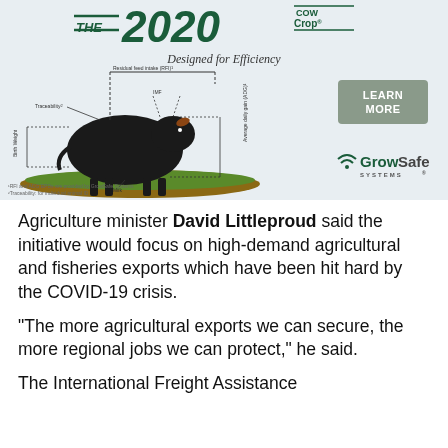[Figure (illustration): Advertisement for GrowSafe Systems featuring a black Angus bull with labeled traits (Residual feed intake, Traceability, IMF, Birth Weight, Average daily gain, Milk) and text 'The 2020 Cow Crop - Designed for Efficiency' with a 'Learn More' button and GrowSafe Systems logo.]
Agriculture minister David Littleproud said the initiative would focus on high-demand agricultural and fisheries exports which have been hit hard by the COVID-19 crisis.
“The more agricultural exports we can secure, the more regional jobs we can protect,” he said.
The International Freight Assistance